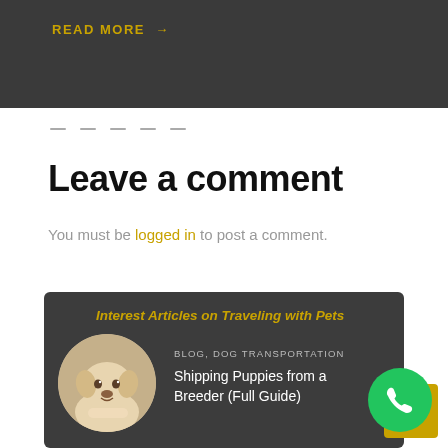[Figure (photo): Dark banner with READ MORE arrow link in yellow/gold text]
READ MORE →
— — — — —
Leave a comment
You must be logged in to post a comment.
Interest Articles on Traveling with Pets
[Figure (photo): Circular photo of a yellow Labrador puppy being held by a person]
BLOG, DOG TRANSPORTATION
Shipping Puppies from a Breeder (Full Guide)